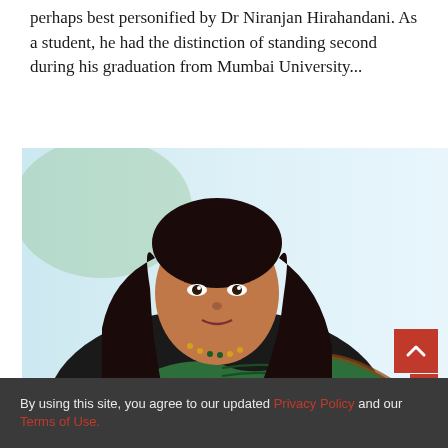perhaps best personified by Dr Niranjan Hirahandani. As a student, he had the distinction of standing second during his graduation from Mumbai University...
[Figure (photo): Portrait photo of a woman in a green and black saree with gold jewelry, smiling, with a blurred light background.]
By using this site, you agree to our updated Privacy Policy and our Terms of Use.